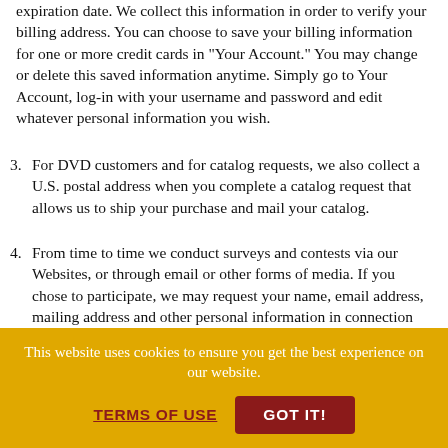expiration date. We collect this information in order to verify your billing address. You can choose to save your billing information for one or more credit cards in "Your Account." You may change or delete this saved information anytime. Simply go to Your Account, log-in with your username and password and edit whatever personal information you wish.
3. For DVD customers and for catalog requests, we also collect a U.S. postal address when you complete a catalog request that allows us to ship your purchase and mail your catalog.
4. From time to time we conduct surveys and contests via our Websites, or through email or other forms of media. If you chose to participate, we may request your name, email address, mailing address and other personal information in connection with such participation.
5. We may also ask for personal information when you contact
This website uses cookies to ensure you get the best experience on our website.
TERMS OF USE   GOT IT!